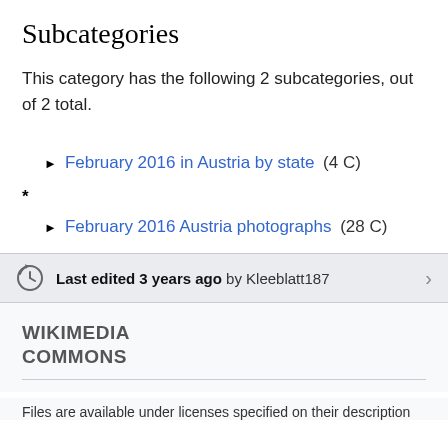Subcategories
This category has the following 2 subcategories, out of 2 total.
► February 2016 in Austria by state (4 C)
* ► February 2016 Austria photographs (28 C)
Last edited 3 years ago by Kleeblatt187
WIKIMEDIA COMMONS
Files are available under licenses specified on their description